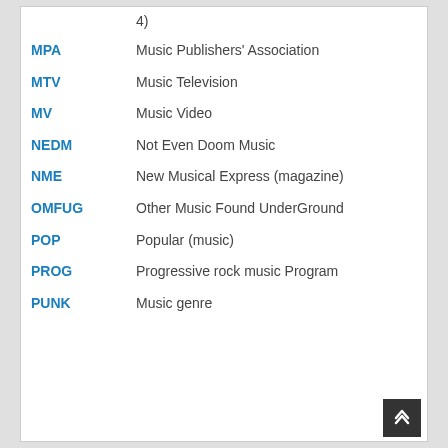4)
MPA — Music Publishers' Association
MTV — Music Television
MV — Music Video
NEDM — Not Even Doom Music
NME — New Musical Express (magazine)
OMFUG — Other Music Found UnderGround
POP — Popular (music)
PROG — Progressive rock music Program
PUNK — Music genre